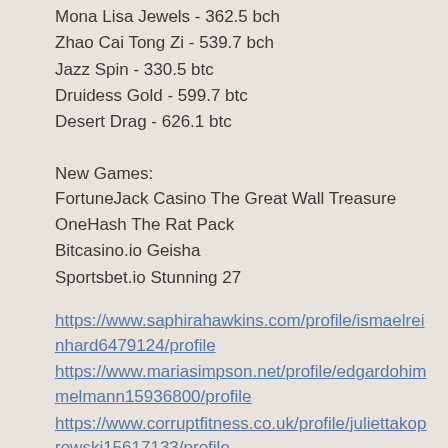Mona Lisa Jewels - 362.5 bch
Zhao Cai Tong Zi - 539.7 bch
Jazz Spin - 330.5 btc
Druidess Gold - 599.7 btc
Desert Drag - 626.1 btc
New Games:
FortuneJack Casino The Great Wall Treasure
OneHash The Rat Pack
Bitcasino.io Geisha
Sportsbet.io Stunning 27
https://www.saphirahawkins.com/profile/ismaelreinhard6479124/profile
https://www.mariasimpson.net/profile/edgardohimmelmann15936800/profile
https://www.corruptfitness.co.uk/profile/juliettakoprowski15617133/profile
https://www.musicaltheatrefitness.com/profile/homersalvemini16402301/profile